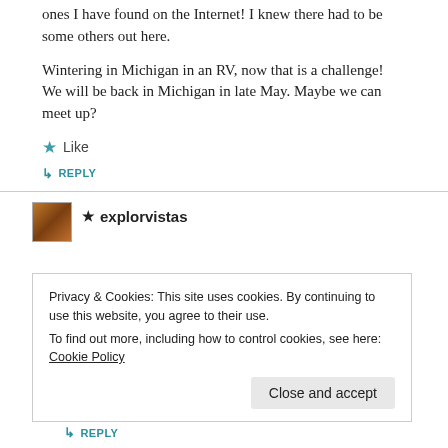ones I have found on the Internet! I knew there had to be some others out here.
Wintering in Michigan in an RV, now that is a challenge! We will be back in Michigan in late May. Maybe we can meet up?
★ Like
↳ REPLY
★ explorvistas
Privacy & Cookies: This site uses cookies. By continuing to use this website, you agree to their use.
To find out more, including how to control cookies, see here: Cookie Policy
Close and accept
↳ REPLY